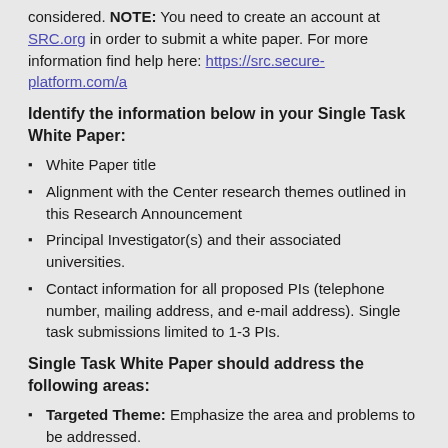considered. NOTE: You need to create an account at SRC.org in order to submit a white paper. For more information find help here: https://src.secure-platform.com/a
Identify the information below in your Single Task White Paper:
White Paper title
Alignment with the Center research themes outlined in this Research Announcement
Principal Investigator(s) and their associated universities.
Contact information for all proposed PIs (telephone number, mailing address, and e-mail address). Single task submissions limited to 1-3 PIs.
Single Task White Paper should address the following areas:
Targeted Theme: Emphasize the area and problems to be addressed.
Approach: Present your strategy for addressing the problem. Describe important findings from any associated research to date. Describe how your proposed research would advance the state-of-the-art and be useful to JUMP 2.0 sponsoring companies and DARPA.
Objectives and Results: What do you plan to accomplish in the 5-year period? Specify clearly what is expected to be accomplished in the first 3 years of the Center's charter. What